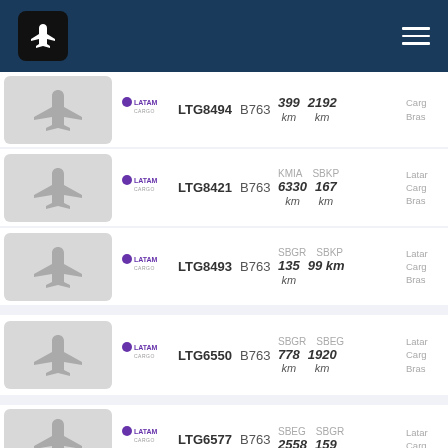Flight tracker app header with airplane logo and hamburger menu
| Image | Airline | Flight | Aircraft | Origin | Destination | Operator |
| --- | --- | --- | --- | --- | --- | --- |
| [plane] | LATAM Cargo | LTG8494 | B763 | 399 km | 2192 km | Latam Cargo Brasil |
| [plane] | LATAM Cargo | LTG8421 | B763 | KMIA 6330 km | SBKP 167 km | Latam Cargo Brasil |
| [plane] | LATAM Cargo | LTG8493 | B763 | SBGR 135 km | SBKP 99 km | Latam Cargo Brasil |
| [plane] | LATAM Cargo | LTG6550 | B763 | SBGR 778 km | SBEG 1920 km | Latam Cargo Brasil |
| [plane] | LATAM Cargo | LTG6577 | B763 | SBEG 2558 | SBGR 159 | Latam Cargo Brasil |